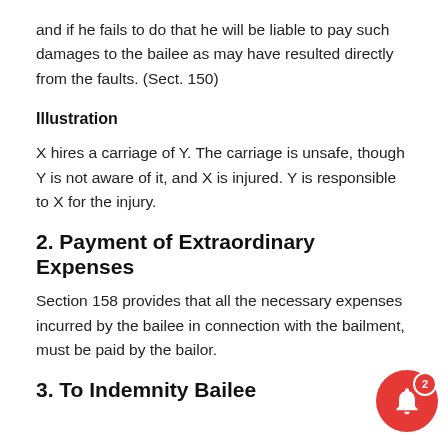and if he fails to do that he will be liable to pay such damages to the bailee as may have resulted directly from the faults. (Sect. 150)
Illustration
X hires a carriage of Y. The carriage is unsafe, though Y is not aware of it, and X is injured. Y is responsible to X for the injury.
2. Payment of Extraordinary Expenses
Section 158 provides that all the necessary expenses incurred by the bailee in connection with the bailment, must be paid by the bailor.
3. To Indemnify Bailee